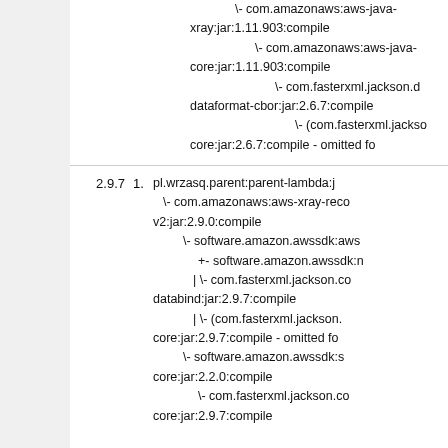\- com.amazonaws:aws-java-xray:jar:1.11.903:compile \- com.amazonaws:aws-java-core:jar:1.11.903:compile \- com.fasterxml.jackson.dataformat-cbor:jar:2.6.7:compile \- (com.fasterxml.jackson.core:jar:2.6.7:compile - omitted fo
2.9.7  1. pl.wrzasq.parent:parent-lambda:j \- com.amazonaws:aws-xray-recorder-sdk-core-v2:jar:2.9.0:compile \- software.amazon.awssdk:aws... +- software.amazon.awssdk:n | \- com.fasterxml.jackson.co databind:jar:2.9.7:compile |    \- (com.fasterxml.jackson. core:jar:2.9.7:compile - omitted fo \- software.amazon.awssdk:s core:jar:2.2.0:compile \- com.fasterxml.jackson.co core:jar:2.9.7:compile